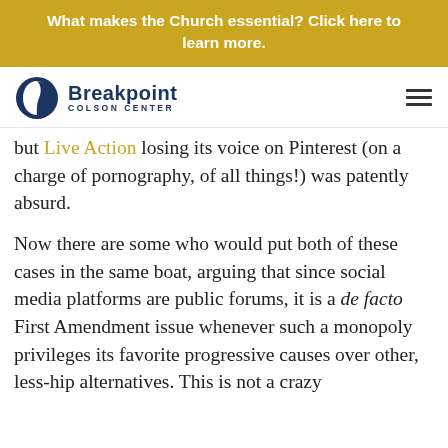What makes the Church essential? Click here to learn more.
[Figure (logo): Breakpoint Colson Center logo with dark blue moon/shield icon and text]
but Live Action losing its voice on Pinterest (on a charge of pornography, of all things!) was patently absurd.
Now there are some who would put both of these cases in the same boat, arguing that since social media platforms are public forums, it is a de facto First Amendment issue whenever such a monopoly privileges its favorite progressive causes over other, less-hip alternatives. This is not a crazy